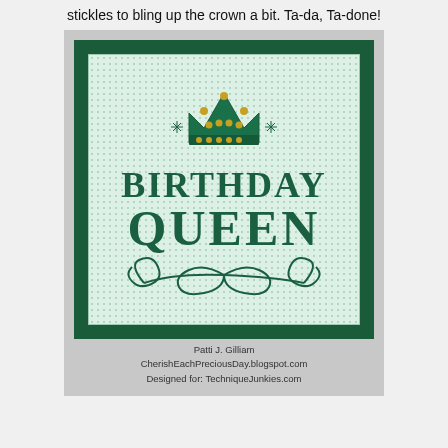stickles to bling up the crown a bit. Ta-da, Ta-done!
[Figure (photo): A handmade Birthday Queen greeting card with dark green border, textured light green inner panel featuring a crown with gold gem embellishments, and large 'BIRTHDAY QUEEN' text with decorative swirls, all in dark green ink.]
Patti J. Gilliam
CherishEachPreciousDay.blogspot.com
Designed for: TechniqueJunkies.com